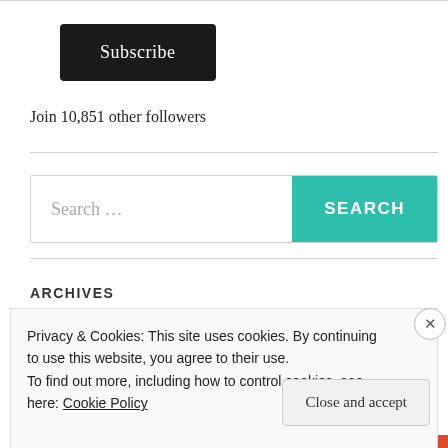[Figure (other): Subscribe button — dark rounded rectangle with white text]
Join 10,851 other followers
[Figure (other): Search bar with teal SEARCH button]
ARCHIVES
Privacy & Cookies: This site uses cookies. By continuing to use this website, you agree to their use.
To find out more, including how to control cookies, see here: Cookie Policy
[Figure (other): Close and accept button at bottom of cookie notice]